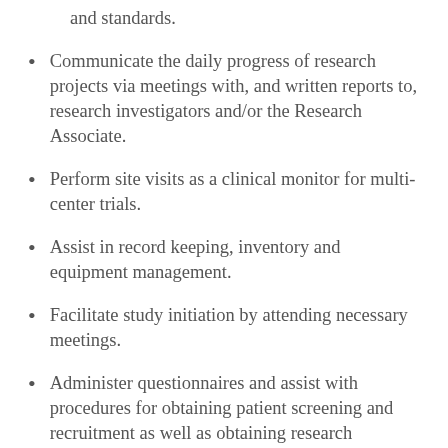and standards.
Communicate the daily progress of research projects via meetings with, and written reports to, research investigators and/or the Research Associate.
Perform site visits as a clinical monitor for multi-center trials.
Assist in record keeping, inventory and equipment management.
Facilitate study initiation by attending necessary meetings.
Administer questionnaires and assist with procedures for obtaining patient screening and recruitment as well as obtaining research specimens.
Act as a technical resource daily, leading the